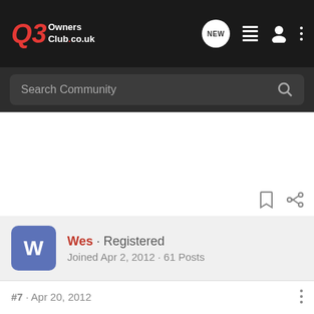Q3 Owners Club.co.uk
Search Community
Wes · Registered
Joined Apr 2, 2012 · 61 Posts
#7 · Apr 20, 2012
Been having a good laugh using the speech commands in the car tonight.
She really is struggling (like most do) to understand my Geordie